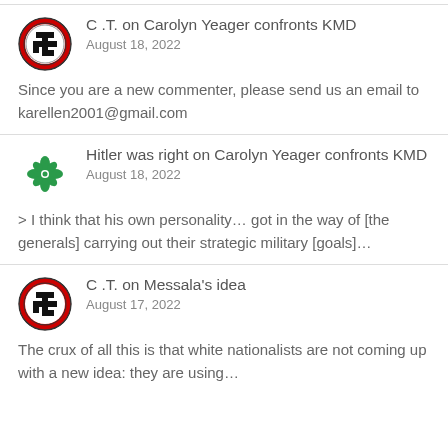C .T. on Carolyn Yeager confronts KMD
August 18, 2022
Since you are a new commenter, please send us an email to karellen2001@gmail.com
Hitler was right on Carolyn Yeager confronts KMD
August 18, 2022
> I think that his own personality… got in the way of [the generals] carrying out their strategic military [goals]…
C .T. on Messala's idea
August 17, 2022
The crux of all this is that white nationalists are not coming up with a new idea: they are using…